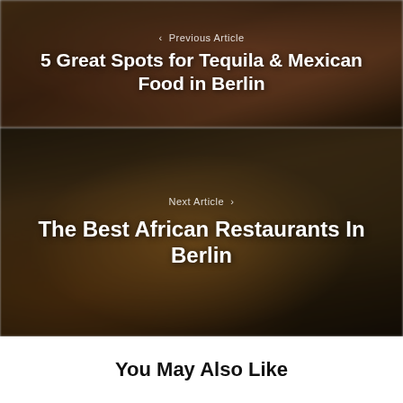[Figure (photo): Blurred photo of Mexican food (tacos/tortillas) with dark overlay, used as background for Previous Article navigation panel]
< Previous Article
5 Great Spots for Tequila & Mexican Food in Berlin
[Figure (photo): Blurred photo of African food in a bowl with dark overlay, used as background for Next Article navigation panel]
Next Article >
The Best African Restaurants In Berlin
You May Also Like